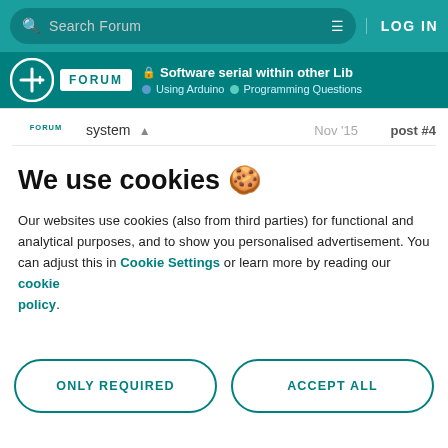Search Forum | LOG IN
FORUM | Software serial within other Lib | Using Arduino | Programming Questions
system | Nov '15 | post #4 | FORUM
We use cookies 🍪
Our websites use cookies (also from third parties) for functional and analytical purposes, and to show you personalised advertisement. You can adjust this in Cookie Settings or learn more by reading our cookie policy.
ONLY REQUIRED
ACCEPT ALL